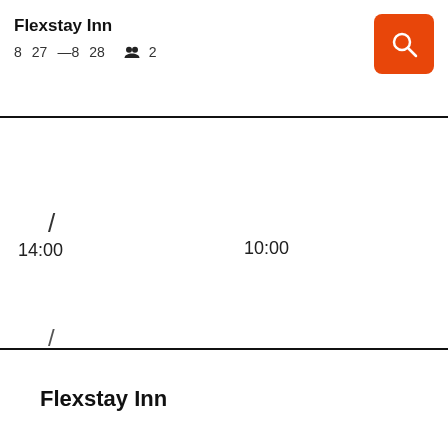Flexstay Inn
8  27  — 8  28    👥 2
/
14:00
10:00
/
/
Flexstay Inn